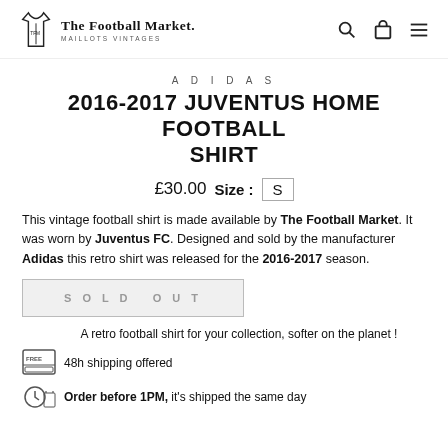The Football Market. MAILLOTS VINTAGES
ADIDAS
2016-2017 JUVENTUS HOME FOOTBALL SHIRT
£30.00  Size :  S
This vintage football shirt is made available by The Football Market. It was worn by Juventus FC. Designed and sold by the manufacturer Adidas this retro shirt was released for the 2016-2017 season.
SOLD OUT
A retro football shirt for your collection, softer on the planet !
48h shipping offered
Order before 1PM, it's shipped the same day